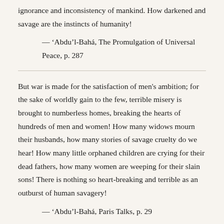ignorance and inconsistency of mankind. How darkened and savage are the instincts of humanity!
— ‘Abdu’l-Bahá, The Promulgation of Universal Peace, p. 287
But war is made for the satisfaction of men's ambition; for the sake of worldly gain to the few, terrible misery is brought to numberless homes, breaking the hearts of hundreds of men and women! How many widows mourn their husbands, how many stories of savage cruelty do we hear! How many little orphaned children are crying for their dead fathers, how many women are weeping for their slain sons! There is nothing so heart-breaking and terrible as an outburst of human savagery!
— ‘Abdu’l-Bahá, Paris Talks, p. 29